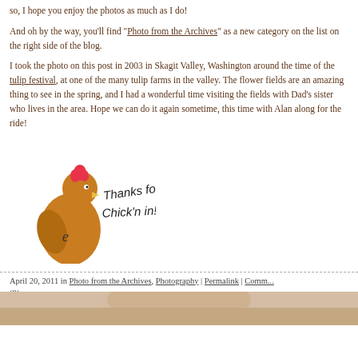so, I hope you enjoy the photos as much as I do!
And oh by the way, you'll find "Photo from the Archives" as a new category on the list on the right side of the blog.
I took the photo on this post in 2003 in Skagit Valley, Washington around the time of the tulip festival, at one of the many tulip farms in the valley. The flower fields are an amazing thing to see in the spring, and I had a wonderful time visiting the fields with Dad's sister who lives in the area. Hope we can do it again sometime, this time with Alan along for the ride!
[Figure (illustration): Cartoon chicken with text 'Thanks for Chick'n in!']
April 20, 2011 in Photo from the Archives, Photography | Permalink | Comments (9)
Give this Photo a Title!
[Figure (photo): Partial photo visible at bottom of page]